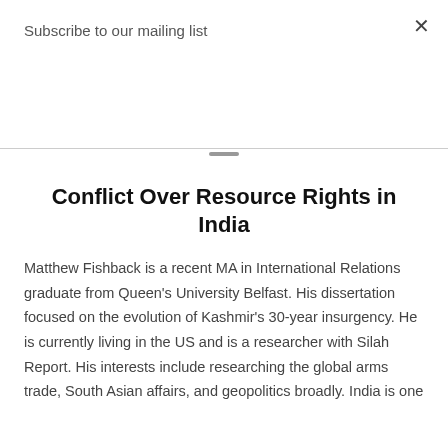Subscribe to our mailing list
Conflict Over Resource Rights in India
Matthew Fishback is a recent MA in International Relations graduate from Queen's University Belfast. His dissertation focused on the evolution of Kashmir's 30-year insurgency. He is currently living in the US and is a researcher with Silah Report. His interests include researching the global arms trade, South Asian affairs, and geopolitics broadly. India is one